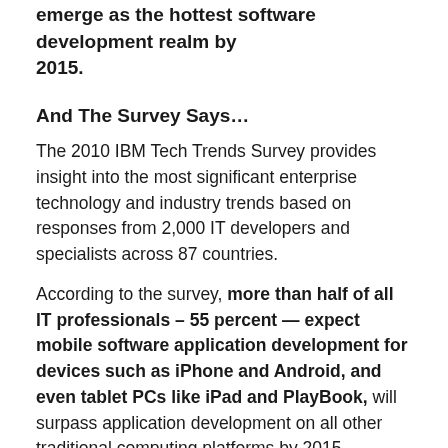emerge as the hottest software development realm by 2015.
And The Survey Says…
The 2010 IBM Tech Trends Survey provides insight into the most significant enterprise technology and industry trends based on responses from 2,000 IT developers and specialists across 87 countries.
According to the survey, more than half of all IT professionals – 55 percent — expect mobile software application development for devices such as iPhone and Android, and even tablet PCs like iPad and PlayBook, will surpass application development on all other traditional computing platforms by 2015.
With the proliferation of mobile devices, industry analysts are predicting mobile applications also will...